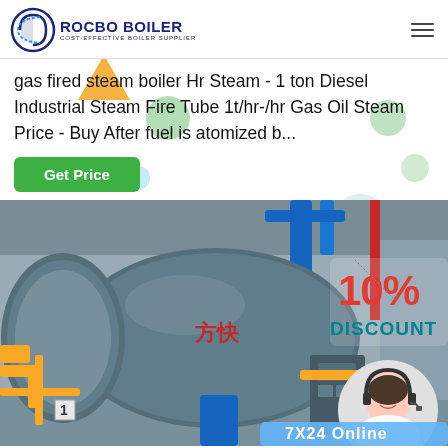ROCBO BOILER - COST-EFFECTIVE BOILER SUPPLIER
gas fired steam boiler Hr Steam - 1 ton Diesel Industrial Steam Fire Tube 1t/hr-/hr Gas Oil Steam Price - Buy After fuel is atomized b...
Get Price
[Figure (photo): Industrial gas fired steam boiler in a facility with yellow pipes, blue pipes, and red pipes. Chinese branding '万快' visible on the boiler. Overlay shows '10% DISCOUNT' in red and teal text with a customer service representative wearing a headset. Bottom bar shows '7X24 Online'.]